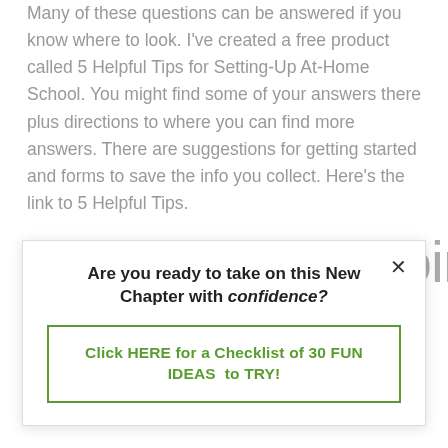Many of these questions can be answered if you know where to look. I've created a free product called 5 Helpful Tips for Setting-Up At-Home School. You might find some of your answers there plus directions to where you can find more answers. There are suggestions for getting started and forms to save the info you collect. Here's the link to 5 Helpful Tips.
The Perks of Doing
Are you ready to take on this New Chapter with confidence?
Click HERE for a Checklist of 30 FUN IDEAS to TRY!